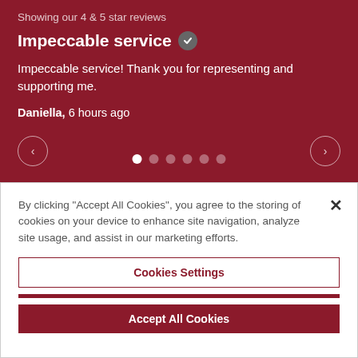Showing our 4 & 5 star reviews
Impeccable service ✓
Impeccable service! Thank you for representing and supporting me.
Daniella, 6 hours ago
[Figure (other): Carousel navigation with left arrow, 6 pagination dots (first active/white, rest faded), and right arrow on dark red background]
By clicking "Accept All Cookies", you agree to the storing of cookies on your device to enhance site navigation, analyze site usage, and assist in our marketing efforts.
Cookies Settings
Reject All
Accept All Cookies